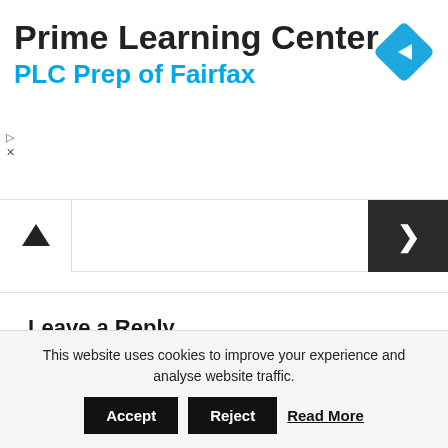[Figure (logo): Prime Learning Center / PLC Prep of Fairfax advertisement banner with blue navigation arrow icon]
Leave a Reply
YOUR EMAIL ADDRESS WILL NOT BE PUBLISHED. REQUIRED FIELDS ARE MARKED *
COMMENT *
This website uses cookies to improve your experience and analyse website traffic.